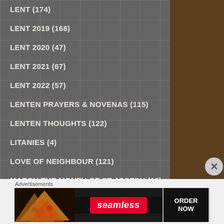LENT (174)
LENT 2019 (168)
LENT 2020 (47)
LENT 2021 (67)
LENT 2022 (57)
LENTEN PRAYERS & NOVENAS (115)
LENTEN THOUGHTS (122)
LITANIES (4)
LOVE of NEIGHBOUR (121)
MARCH the month of ST JOSEPH (18)
MARIAN Antiphons (36)
Advertisements
[Figure (photo): Seamless food ordering advertisement banner showing pizza slices on the left, a red Seamless logo badge in the center, and an ORDER NOW button on the right with dark background]